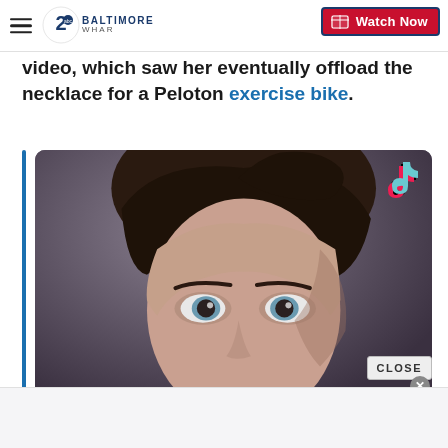WHAR Baltimore | Watch Now
video, which saw her eventually offload the necklace for a Peloton exercise bike.
[Figure (photo): A close-up photo of a young woman with dark hair pulled back, looking slightly upward. The image appears to be a TikTok video screenshot, with the TikTok logo visible in the upper right corner of the video frame.]